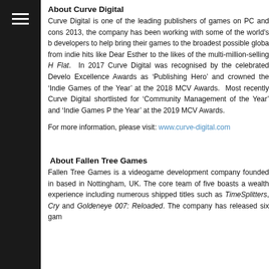About Curve Digital
Curve Digital is one of the leading publishers of games on PC and cons... 2013, the company has been working with some of the world's b... developers to help bring their games to the broadest possible globa... from indie hits like Dear Esther to the likes of the multi-million-selling H... Flat.  In 2017 Curve Digital was recognised by the celebrated Develo... Excellence Awards as ‘Publishing Hero’ and crowned the ‘Indie Games... of the Year’ at the 2018 MCV Awards.  Most recently Curve Digital... shortlisted for ‘Community Management of the Year’ and ‘Indie Games P... the Year’ at the 2019 MCV Awards.
For more information, please visit: www.curve-digital.com
About Fallen Tree Games
Fallen Tree Games is a videogame development company founded in... based in Nottingham, UK. The core team of five boasts a wealth... experience including numerous shipped titles such as TimeSplitters, Cry... and Goldeneye 007: Reloaded. The company has released six gam...